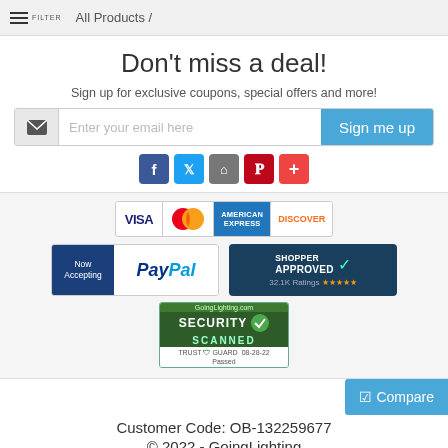FILTER  All Products /
Don't miss a deal!
Sign up for exclusive coupons, special offers and more!
[Figure (screenshot): Email signup field with envelope icon, placeholder text 'Enter your email here', and a blue 'Sign me up' button]
[Figure (infographic): Social media icons: Facebook, Twitter, Houzz, Pinterest, and a plus icon]
[Figure (infographic): Payment method badges: VISA, MasterCard, American Express, Discover, PayPal (Now Accepting), Shopper Approved 32.1K Ratings, and GoingLighting.com Security Scanned Trust Guard Passed 08-28-22 badge]
Customer Code: OB-132259677
© 2022 - GoingLighting